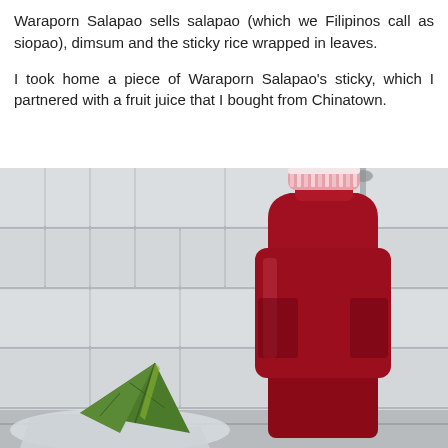Waraporn Salapao sells salapao (which we Filipinos call as siopao), dimsum and the sticky rice wrapped in leaves.
I took home a piece of Waraporn Salapao's sticky, which I partnered with a fruit juice that I bought from Chinatown.
[Figure (photo): A photo showing a dark red/maroon fruit juice bottle with a pink-white ribbed cap, placed on a tiled white surface. In the bottom-left foreground is a green leaf-wrapped sticky rice item (zongzi/pandan-wrapped rice). The background shows white ceramic wall tiles.]